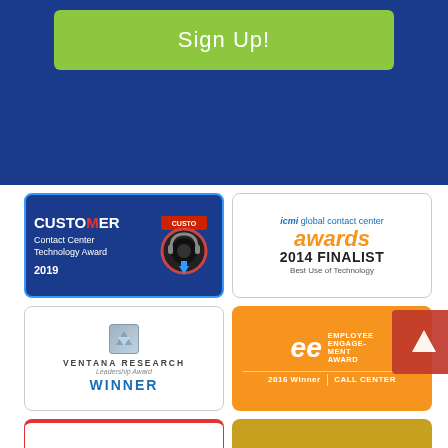[Figure (screenshot): Green 'Sign Up!' button on dark blue background banner]
[Figure (logo): CUSTOMER Contact Center Technology Award 2019 badge - blue card with red headset logo]
[Figure (logo): ICMI global contact center awards 2014 FINALIST Best Use of Technology]
[Figure (logo): Ventana Research Leadership Award WINNER]
[Figure (logo): Employee Engagement Awards 2016 Winner CALL CENTER - orange card with ee logo]
[Figure (logo): Partial red award card (bottom of page, cut off)]
[Figure (logo): Partial gold/yellow award card (bottom of page, cut off)]